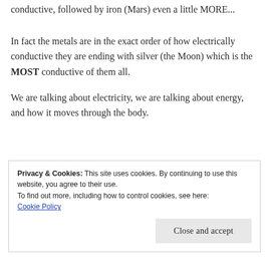conductive, followed by iron (Mars) even a little MORE...
In fact the metals are in the exact order of how electrically conductive they are ending with silver (the Moon) which is the MOST conductive of them all.
We are talking about electricity, we are talking about energy, and how it moves through the body.
Privacy & Cookies: This site uses cookies. By continuing to use this website, you agree to their use.
To find out more, including how to control cookies, see here:
Cookie Policy
Close and accept